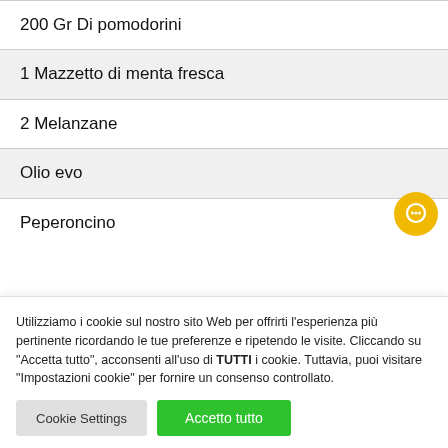200 Gr Di pomodorini
1 Mazzetto di menta fresca
2 Melanzane
Olio evo
Peperoncino
[Figure (other): Yellow circular chat/messenger button in bottom-right of content area]
Utilizziamo i cookie sul nostro sito Web per offrirti l'esperienza più pertinente ricordando le tue preferenze e ripetendo le visite. Cliccando su "Accetta tutto", acconsenti all'uso di TUTTI i cookie. Tuttavia, puoi visitare "Impostazioni cookie" per fornire un consenso controllato.